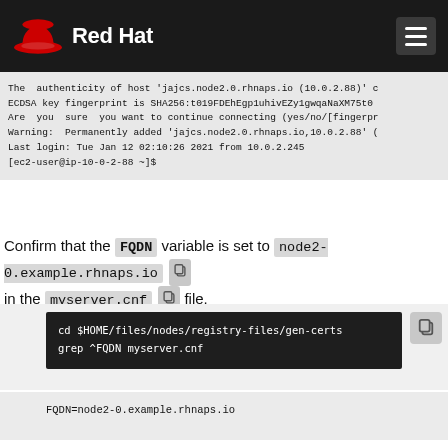Red Hat
The authenticity of host 'jajcs.node2.0.rhnaps.io (10.0.2.88)' c
ECDSA key fingerprint is SHA256:t019FDEhEgp1uhivEZy1gwqaNaXM75t0
Are you sure you want to continue connecting (yes/no/[fingerprint
Warning: Permanently added 'jajcs.node2.0.rhnaps.io,10.0.2.88' (
Last login: Tue Jan 12 02:10:26 2021 from 10.0.2.245
[ec2-user@ip-10-0-2-88 ~]$
Confirm that the FQDN variable is set to node2-0.example.rhnaps.io in the myserver.cnf file.
cd $HOME/files/nodes/registry-files/gen-certs
grep ^FQDN myserver.cnf
FQDN=node2-0.example.rhnaps.io